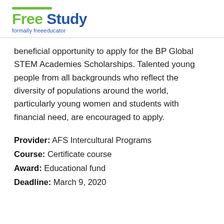Free Study — formally freeeducator
beneficial opportunity to apply for the BP Global STEM Academies Scholarships. Talented young people from all backgrounds who reflect the diversity of populations around the world, particularly young women and students with financial need, are encouraged to apply.
Provider: AFS Intercultural Programs
Course: Certificate course
Award: Educational fund
Deadline: March 9, 2020